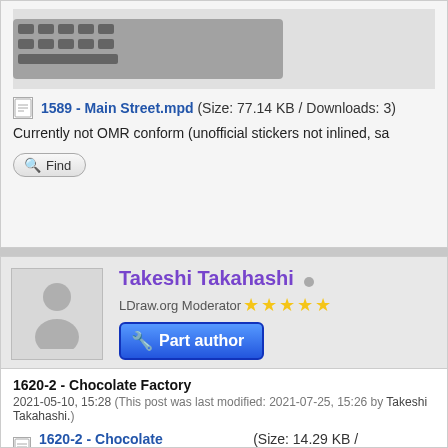[Figure (screenshot): Top of a forum post showing a partial image of what appears to be a keyboard/LEGO model, partially cropped at top]
1589 - Main Street.mpd (Size: 77.14 KB / Downloads: 3)
Currently not OMR conform (unofficial stickers not inlined, sa
Find
Takeshi Takahashi
LDraw.org Moderator ★★★★★
Part author
1620-2 - Chocolate Factory
2021-05-10, 15:28 (This post was last modified: 2021-07-25, 15:26 by Takeshi Takahashi.)
1620-2 - Chocolate Factory.mpd (Size: 14.29 KB / Downloads:
[Figure (illustration): Partial image of a LEGO Chocolate Factory model set, showing what appears to be a bottle/chimney at the bottom of the page]